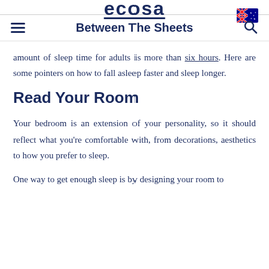ecosa
Between The Sheets
amount of sleep time for adults is more than six hours. Here are some pointers on how to fall asleep faster and sleep longer.
Read Your Room
Your bedroom is an extension of your personality, so it should reflect what you're comfortable with, from decorations, aesthetics to how you prefer to sleep.
One way to get enough sleep is by designing your room to